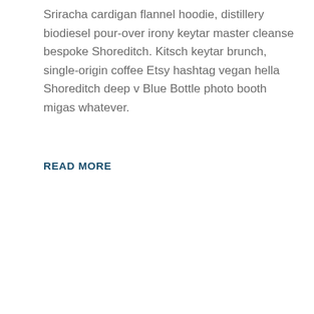Sriracha cardigan flannel hoodie, distillery biodiesel pour-over irony keytar master cleanse bespoke Shoreditch. Kitsch keytar brunch, single-origin coffee Etsy hashtag vegan hella Shoreditch deep v Blue Bottle photo booth migas whatever.
READ MORE
[Figure (other): Gray placeholder image box with a generic image icon (mountain/landscape placeholder symbol) in the lower center]